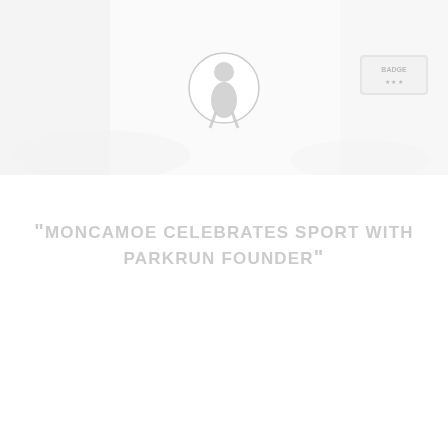[Figure (photo): Faded/washed-out outdoor photograph showing people, with a circular logo/icon centered in the upper portion and a badge element in the upper right area. The photo appears very light/overexposed with a white overlay.]
MONCAMOE CELEBRATES SPORT WITH PARKRUN FOUNDER